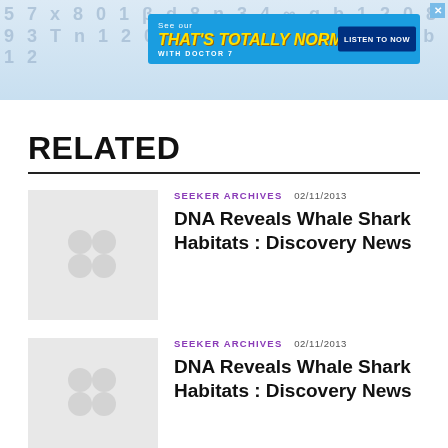[Figure (other): Advertisement banner: 'THAT'S TOTALLY NORMAL! WITH DOCTOR 7 — LISTEN TO NOW' on blue background with background DNA/science text pattern]
RELATED
[Figure (other): Placeholder thumbnail image with grey background and Seeker logo silhouette]
SEEKER ARCHIVES  02/11/2013
DNA Reveals Whale Shark Habitats : Discovery News
[Figure (other): Placeholder thumbnail image with grey background and Seeker logo silhouette]
SEEKER ARCHIVES  02/11/2013
DNA Reveals Whale Shark Habitats : Discovery News